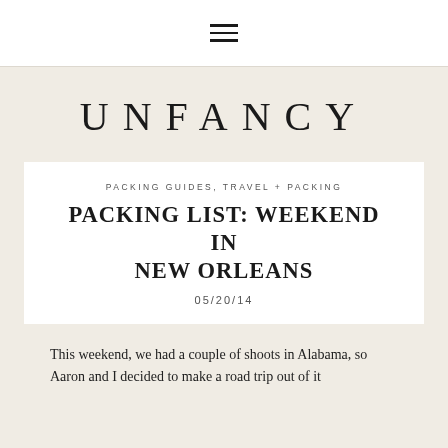☰ (hamburger menu icon)
UNFANCY
PACKING GUIDES, TRAVEL + PACKING
PACKING LIST: WEEKEND IN NEW ORLEANS
05/20/14
This weekend, we had a couple of shoots in Alabama, so Aaron and I decided to make a road trip out of it